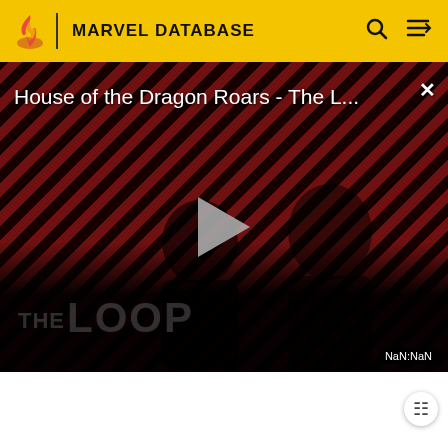MARVEL DATABASE
[Figure (screenshot): Video player showing 'House of the Dragon Roars - The L...' with play button, diagonal red and black stripe background, silhouetted figures, THE LOOP watermark, close button, and NaN:NaN time display]
...directly, with the dense tissue of a normal being. Hav contributed, to his superhuman weight. He is immune to penetration wounds, tremendous impacts, and falls from great heights.
Superhuman Durability: Bill's body is far more resistant to physical injury than the body of an